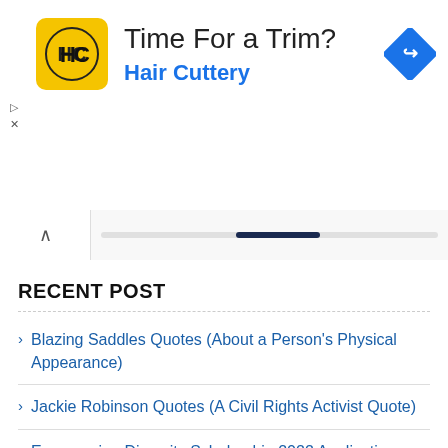[Figure (infographic): Hair Cuttery advertisement banner with yellow HC logo, text 'Time For a Trim?' and 'Hair Cuttery' in blue, and a blue navigation/directions icon on the right. Ad controls (play and close) on the left.]
RECENT POST
Blazing Saddles Quotes (About a Person's Physical Appearance)
Jackie Robinson Quotes (A Civil Rights Activist Quote)
Empowering Diversity Scholarship 2022 Application Update
Innocent Chukwuma Social Impact Award 2022